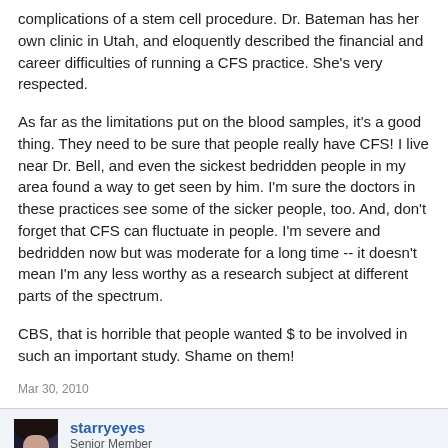complications of a stem cell procedure. Dr. Bateman has her own clinic in Utah, and eloquently described the financial and career difficulties of running a CFS practice. She's very respected.
As far as the limitations put on the blood samples, it's a good thing. They need to be sure that people really have CFS! I live near Dr. Bell, and even the sickest bedridden people in my area found a way to get seen by him. I'm sure the doctors in these practices see some of the sicker people, too. And, don't forget that CFS can fluctuate in people. I'm severe and bedridden now but was moderate for a long time -- it doesn't mean I'm any less worthy as a research subject at different parts of the spectrum.
CBS, that is horrible that people wanted $ to be involved in such an important study. Shame on them!
Mar 30, 2010
starryeyes
Senior Member